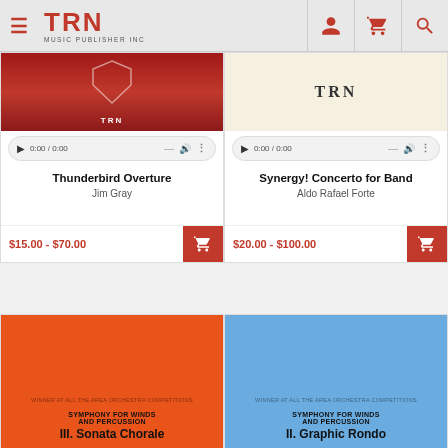TRN MUSIC PUBLISHER INC
[Figure (screenshot): Product card for Thunderbird Overture by Jim Gray with red cover, audio player, price $15.00 - $70.00]
Thunderbird Overture
Jim Gray
$15.00 - $70.00
[Figure (screenshot): Product card for Synergy! Concerto for Band by Aldo Rafael Forte with cream TRN cover, audio player, price $20.00 - $100.00]
Synergy! Concerto for Band
Aldo Rafael Forte
$20.00 - $100.00
[Figure (screenshot): Product card showing orange cover: Symphony for Winds and Percussion III. Sonata Chorale]
[Figure (screenshot): Product card showing blue cover: Symphony for Winds and Percussion II. Graphic Rondo]